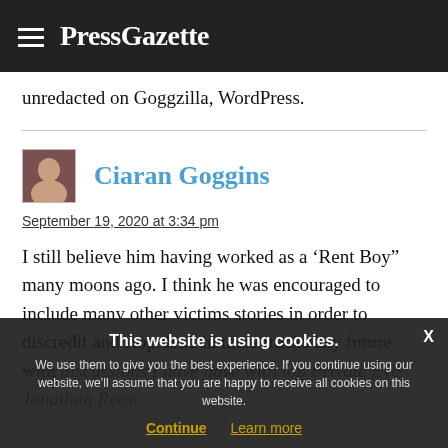PressGazette
unredacted on Goggzilla, WordPress.
Ciaran Goggins
September 19, 2020 at 3:34 pm
I still believe him having worked as a ‘Rent Boy” many moons ago. I think he was encouraged to include many other victims stories in order to discredit and stop dead in there tracks any future with discussions I have have with top Private Eye Jonathan Rees.
This website is using cookies. We use them to give you the best experience. If you continue using our website, we’ll assume that you are happy to receive all cookies on this website. Continue Learn more